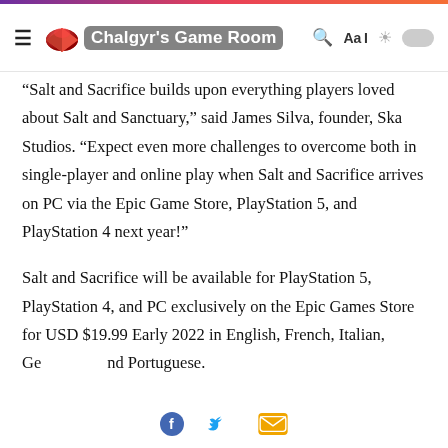Chalgyr's Game Room
“Salt and Sacrifice builds upon everything players loved about Salt and Sanctuary,” said James Silva, founder, Ska Studios. “Expect even more challenges to overcome both in single-player and online play when Salt and Sacrifice arrives on PC via the Epic Game Store, PlayStation 5, and PlayStation 4 next year!”
Salt and Sacrifice will be available for PlayStation 5, PlayStation 4, and PC exclusively on the Epic Games Store for USD $19.99 Early 2022 in English, French, Italian, Ge                nd Portuguese.